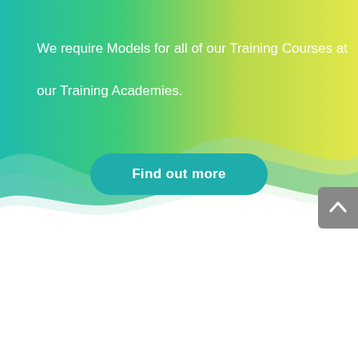[Figure (illustration): Wave-shaped gradient background transitioning from teal on the left to yellow-green on the right, with layered soft wave shapes at the bottom of the gradient area fading to white.]
We require Models for all of our Training Courses at our Training Academies.
Find out more
[Figure (illustration): Gray scroll-to-top button with an upward caret/chevron icon, positioned at the right edge of the page.]